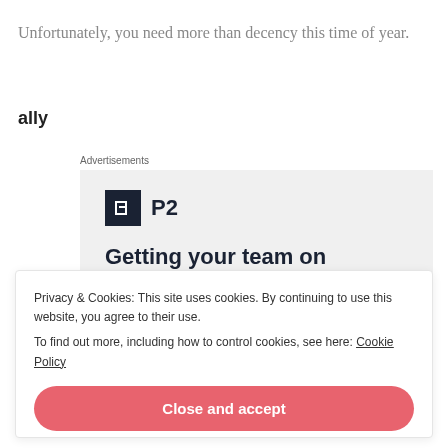Unfortunately, you need more than decency this time of year.
ally
Advertisements
[Figure (infographic): Advertisement box with P2 logo (dark square icon with white mark and 'P2' text) and headline 'Getting your team on']
Privacy & Cookies: This site uses cookies. By continuing to use this website, you agree to their use.
To find out more, including how to control cookies, see here: Cookie Policy
Close and accept